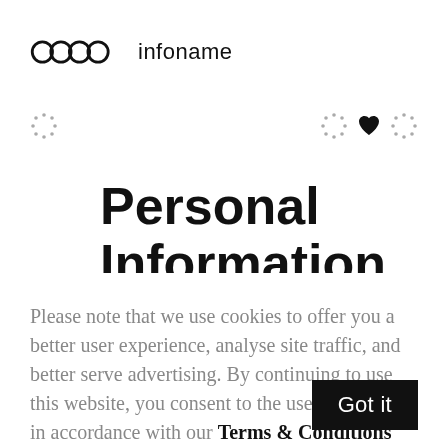[Figure (logo): Audi four rings logo followed by text 'infoname']
[Figure (other): Navigation icon row: dotted circle on left, dotted circle, heart, dotted circle on right]
Personal Information
Please note that we use cookies to offer you a better user experience, analyse site traffic, and better serve advertising. By continuing to use this website, you consent to the use of cookies in accordance with our Terms & Conditions
Got it